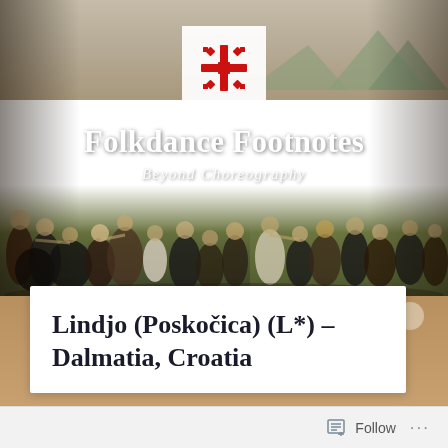[Figure (photo): Hero banner image showing historical folk dancers in traditional costumes dancing in a field, with mountains in background. A red geometric cross/folk art logo appears in a white square at the top center.]
Folkdance Footnotes
Beyond Choreography
Lindjo (Poskočica) (L*) – Dalmatia, Croatia
[Figure (logo): Follow button with document icon in the bottom bar]
Follow ...